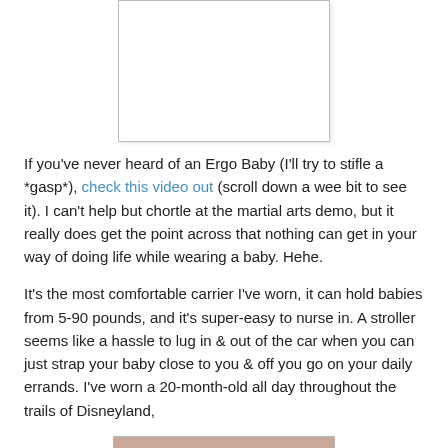[Figure (photo): White rectangular image placeholder with light border, centered on page]
If you've never heard of an Ergo Baby (I'll try to stifle a *gasp*), check this video out (scroll down a wee bit to see it).  I can't help but chortle at the martial arts demo, but it really does get the point across that nothing can get in your way of doing life while wearing a baby. Hehe.
It's the most comfortable carrier I've worn, it can hold babies from 5-90 pounds, and it's super-easy to nurse in.  A stroller seems like a hassle to lug in & out of the car when you can just strap your baby close to you & off you go on your daily errands.  I've worn a 20-month-old all day throughout the trails of Disneyland,
[Figure (photo): Partial photo visible at bottom of page, appears to show a person]